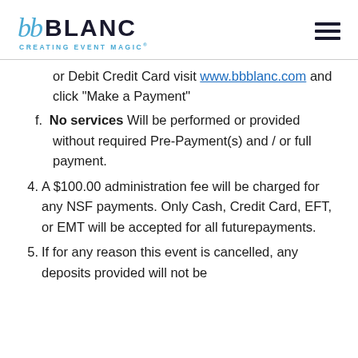bb BLANC CREATING EVENT MAGIC.
or Debit Credit Card visit www.bbblanc.com and click "Make a Payment"
f. No services Will be performed or provided without required Pre-Payment(s) and / or full payment.
4. A $100.00 administration fee will be charged for any NSF payments. Only Cash, Credit Card, EFT, or EMT will be accepted for all futurepayments.
5. If for any reason this event is cancelled, any deposits provided will not be